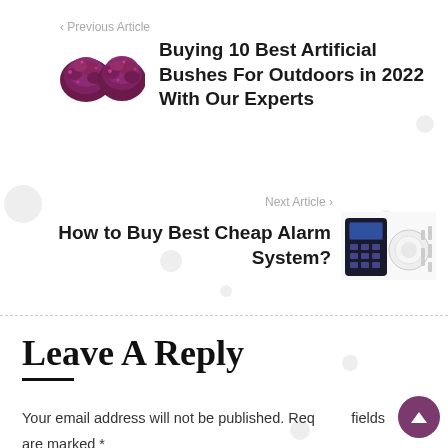‹ Previous Article
Buying 10 Best Artificial Bushes For Outdoors in 2022 With Our Experts
Next Article ›
How to Buy Best Cheap Alarm System?
Leave A Reply
Your email address will not be published. Required fields are marked *